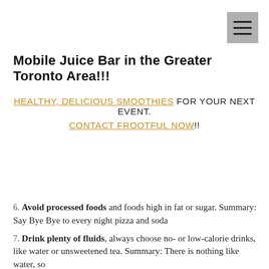[Figure (other): Hamburger menu icon button (three horizontal lines) on grey background, top-right corner]
Mobile Juice Bar in the Greater Toronto Area!!!
HEALTHY, DELICIOUS SMOOTHIES FOR YOUR NEXT EVENT. CONTACT FROOTFUL NOW!!
6. Avoid processed foods and foods high in fat or sugar. Summary: Say Bye Bye to every night pizza and soda
7. Drink plenty of fluids, always choose no- or low-calorie drinks, like water or unsweetened tea. Summary: There is nothing like water, so